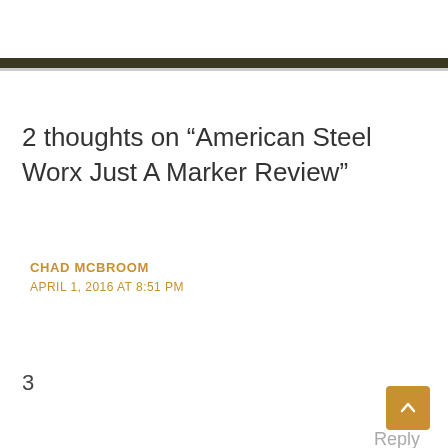2 thoughts on “American Steel Worx Just A Marker Review”
CHAD MCBROOM
APRIL 1, 2016 AT 8:51 PM
3
Reply